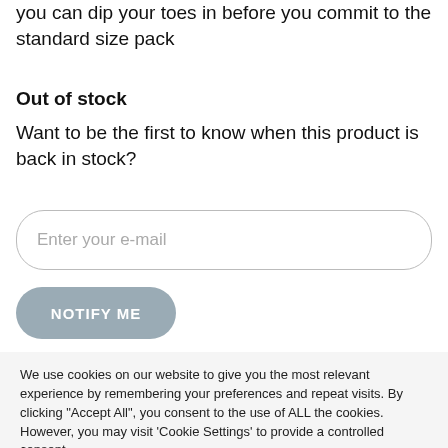you can dip your toes in before you commit to the standard size pack
Out of stock
Want to be the first to know when this product is back in stock?
Enter your e-mail
NOTIFY ME
We use cookies on our website to give you the most relevant experience by remembering your preferences and repeat visits. By clicking "Accept All", you consent to the use of ALL the cookies. However, you may visit 'Cookie Settings' to provide a controlled consent.
Cookie Settings
Accept All